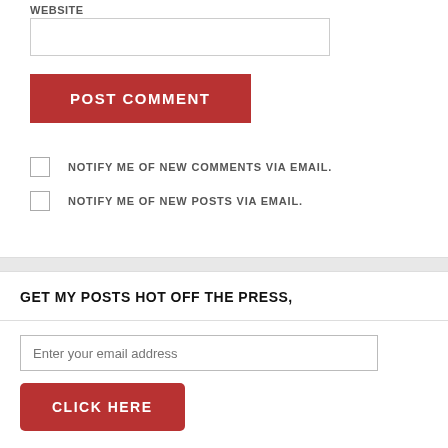WEBSITE
POST COMMENT
NOTIFY ME OF NEW COMMENTS VIA EMAIL.
NOTIFY ME OF NEW POSTS VIA EMAIL.
GET MY POSTS HOT OFF THE PRESS,
Enter your email address
CLICK HERE
Join 1,323 other followers